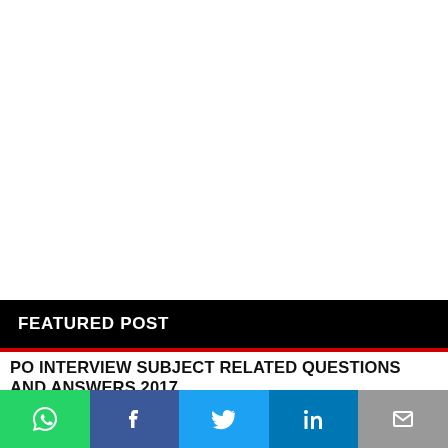[Figure (other): White blank advertisement/image area at the top of the page]
FEATURED POST
PO INTERVIEW SUBJECT RELATED QUESTIONS AND ANSWERS 2017
PO INTERVIEW SUBJECT RELATED QUESTION To Access File CLICK HERE
[Figure (other): Social sharing bar with WhatsApp, Facebook, Twitter, LinkedIn, and Email buttons]